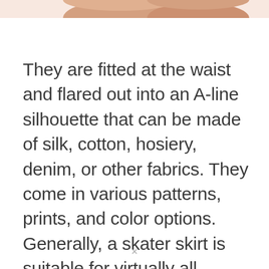[Figure (photo): Partial photo of person wearing skater skirt, showing lower torso/arms at top of page]
They are fitted at the waist and flared out into an A-line silhouette that can be made of silk, cotton, hosiery, denim, or other fabrics. They come in various patterns, prints, and color options. Generally, a skater skirt is suitable for virtually all personality and body types and there are several